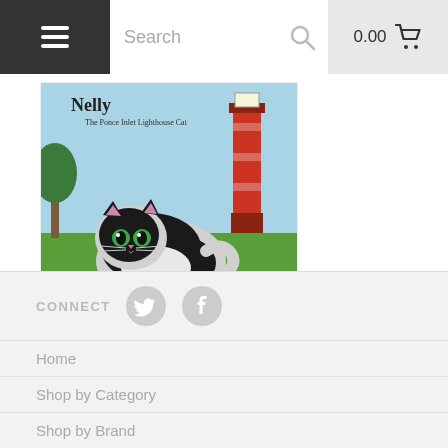Search  0.00
[Figure (illustration): Book cover for 'Nelly The Ponce Inlet Lighthouse Cat' showing a black and white cat lying down on green grass with a red lighthouse in the background and blue sky.]
Nelly The Ponce Inlet Lighthouse Cat Book
$9.95
CONNECT
Home
Shop by Category
Shop by Brand